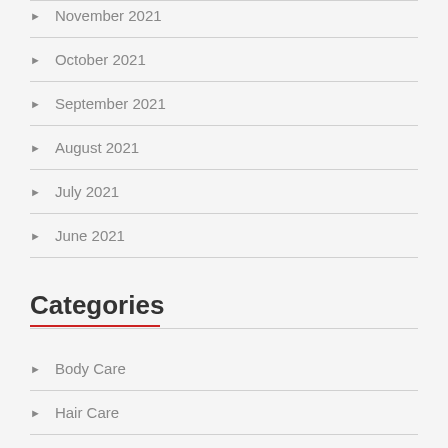November 2021
October 2021
September 2021
August 2021
July 2021
June 2021
Categories
Body Care
Hair Care